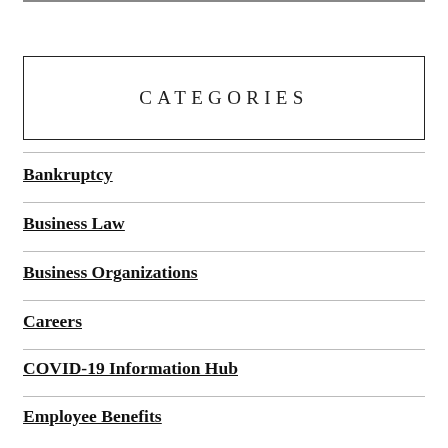CATEGORIES
Bankruptcy
Business Law
Business Organizations
Careers
COVID-19 Information Hub
Employee Benefits
Employment Law
Estate Planning